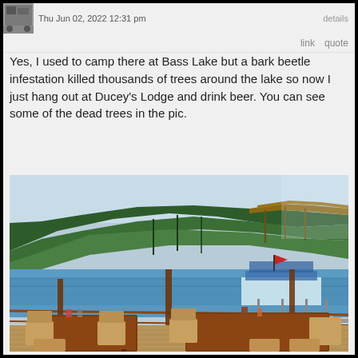Thu Jun 02, 2022 12:31 pm    details
link   quote
Yes, I used to camp there at Bass Lake but a bark beetle infestation killed thousands of trees around the lake so now I just hang out at Ducey's Lodge and drink beer. You can see some of the dead trees in the pic.
[Figure (photo): Outdoor restaurant deck/patio at Ducey's Lodge on Bass Lake, with wooden tables and chairs in foreground, blue lake in middle ground, and forested hillside with some brown dead trees (bark beetle damage) in background. A boat dock is visible on the right side of the lake.]